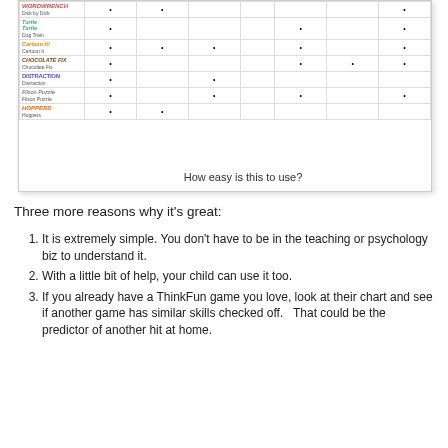[Figure (table-as-image): Partial table showing ThinkFun games (Wordwrench, Turtles, Cartoon It, Chocolate Fix, Distraction, Filson Puzzle, Hoppers) with dot markers in various columns representing skills or features. Caption reads 'How easy is this to use?']
How easy is this to use?
Three more reasons why it's great:
It is extremely simple. You don't have to be in the teaching or psychology biz to understand it.
With a little bit of help, your child can use it too.
If you already have a ThinkFun game you love, look at their chart and see if another game has similar skills checked off.   That could be the predictor of another hit at home.